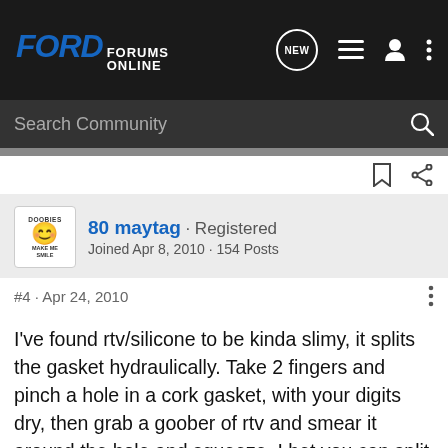FORD FORUMS ONLINE
Search Community
80 maytag · Registered
Joined Apr 8, 2010 · 154 Posts
#4 · Apr 24, 2010
I've found rtv/silicone to be kinda slimy, it splits the gasket hydraulically. Take 2 fingers and pinch a hole in a cork gasket, with your digits dry, then grab a goober of rtv and smear it around the hole and squeeze, I bet you can split it easily. Just my 2 bits, Rich
I'm not really a mechanic, but, I play one on TV. :smilewinkgrin: